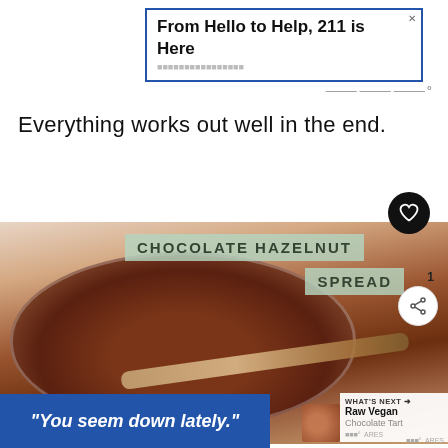[Figure (screenshot): Advertisement banner: 'From Hello to Help, 211 is Here' with blue border and close X button]
Everything works out well in the end.
[Figure (photo): Photo of chocolate hazelnut spread in a glass bowl with a spoon, overlaid with green label reading 'CHOCOLATE HAZELNUT SPREAD', a heart button, share button with count 1, and a 'What's Next' thumbnail for 'Raw Vegan Chocolate Tart']
[Figure (screenshot): Bottom advertisement banner in blue: '"You seem down lately."']